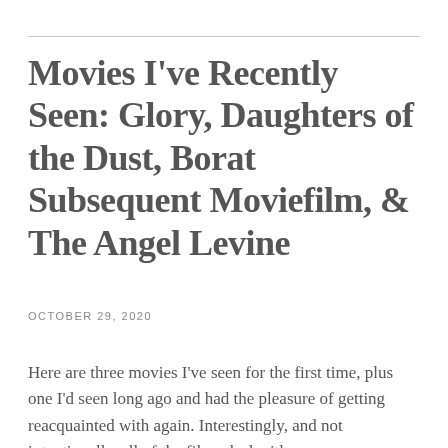Movies I've Recently Seen: Glory, Daughters of the Dust, Borat Subsequent Moviefilm, & The Angel Levine
OCTOBER 29, 2020
Here are three movies I've seen for the first time, plus one I'd seen long ago and had the pleasure of getting reacquainted with again. Interestingly, and not intentionally, all of the films deal with